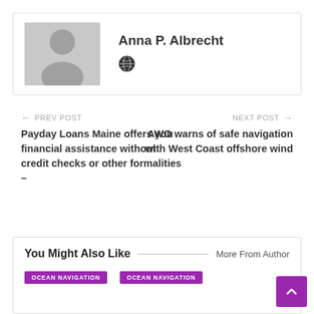[Figure (photo): Author profile box with gray placeholder avatar silhouette, name Anna P. Albrecht, and a globe icon]
Anna P. Albrecht
← PREV POST
Payday Loans Maine offers you financial assistance without credit checks or other formalities –
NEXT POST →
AWO warns of safe navigation with West Coast offshore wind
You Might Also Like
More From Author
OCEAN NAVIGATION
OCEAN NAVIGATION